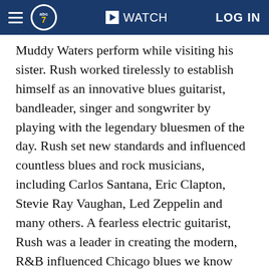abc7 | WATCH | LOG IN
Muddy Waters perform while visiting his sister. Rush worked tirelessly to establish himself as an innovative blues guitarist, bandleader, singer and songwriter by playing with the legendary bluesmen of the day. Rush set new standards and influenced countless blues and rock musicians, including Carlos Santana, Eric Clapton, Stevie Ray Vaughan, Led Zeppelin and many others. A fearless electric guitarist, Rush was a leader in creating the modern, R&B influenced Chicago blues we know today as the West Side Sound.
The evening will begin at 5 p.m. with Ronnie Earl & The Broadcasters. As an award-winning blues guitarist, Ronnie Earl learned fromRush and considers